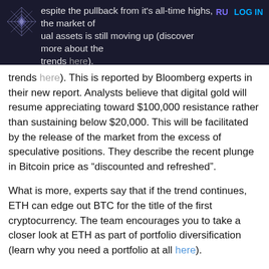Despite the pullback from it's all-time highs, the market of virtual assets is still moving up (discover more about the trends here). RU LOG IN
trends here). This is reported by Bloomberg experts in their new report. Analysts believe that digital gold will resume appreciating toward $100,000 resistance rather than sustaining below $20,000. This will be facilitated by the release of the market from the excess of speculative positions. They describe the recent plunge in Bitcoin price as “discounted and refreshed”.
What is more, experts say that if the trend continues, ETH can edge out BTC for the title of the first cryptocurrency. The team encourages you to take a closer look at ETH as part of portfolio diversification (learn why you need a portfolio at all here).
We will carry out further analysis on the report from PwC in our next article, so stay tuned.
Don’t forget to follow us on social media: Twitter